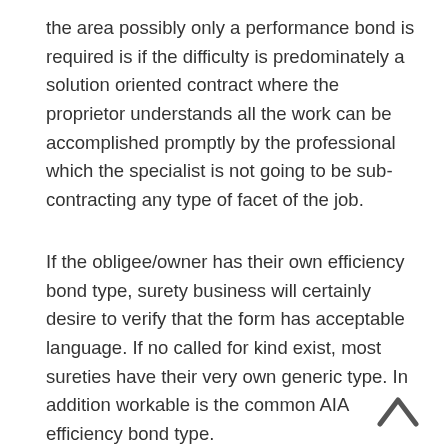the area possibly only a performance bond is required is if the difficulty is predominately a solution oriented contract where the proprietor understands all the work can be accomplished promptly by the professional which the specialist is not going to be sub-contracting any type of facet of the job.
If the obligee/owner has their own efficiency bond type, surety business will certainly desire to verify that the form has acceptable language. If no called for kind exist, most sureties have their very own generic type. In addition workable is the common AIA efficiency bond type.